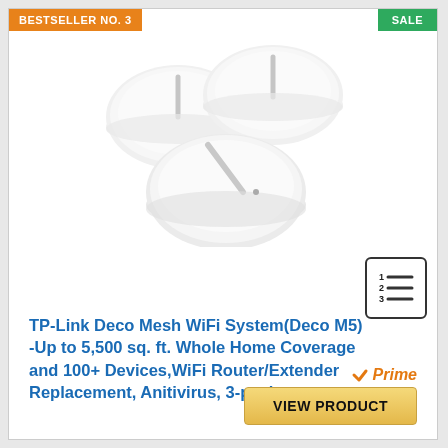BESTSELLER NO. 3
SALE
[Figure (photo): Three white circular TP-Link Deco M5 mesh WiFi router units stacked/arranged together on white background]
TP-Link Deco Mesh WiFi System(Deco M5) -Up to 5,500 sq. ft. Whole Home Coverage and 100+ Devices,WiFi Router/Extender Replacement, Anitivirus, 3-pack
[Figure (illustration): Numbered list icon showing lines 1, 2, 3 with horizontal bars]
Prime
VIEW PRODUCT